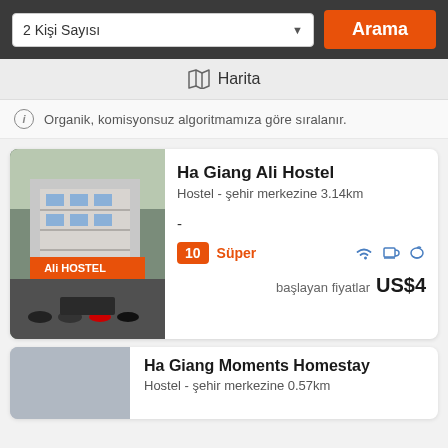2 Kişi Sayısı
Arama
Harita
Organik, komisyonsuz algoritmamıza göre sıralanır.
Ha Giang Ali Hostel
Hostel - şehir merkezine 3.14km
-
10 Süper
başlayan fiyatlar US$4
Ha Giang Moments Homestay
Hostel - şehir merkezine 0.57km